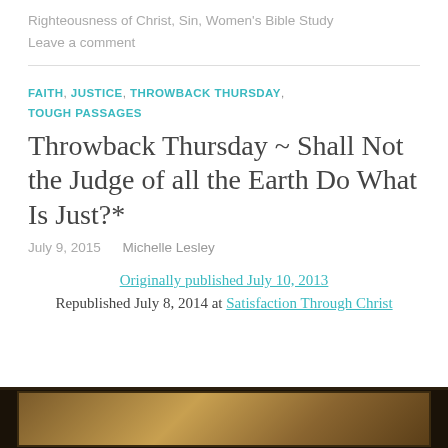Righteousness of Christ, Sin, Women's Bible Study
Leave a comment
FAITH, JUSTICE, THROWBACK THURSDAY, TOUGH PASSAGES
Throwback Thursday ~ Shall Not the Judge of all the Earth Do What Is Just?*
July 9, 2015   Michelle Lesley
Originally published July 10, 2013
Republished July 8, 2014 at Satisfaction Through Christ
[Figure (photo): Bottom strip showing partial image with dark brown/golden tones, appears to be a decorative or article image]